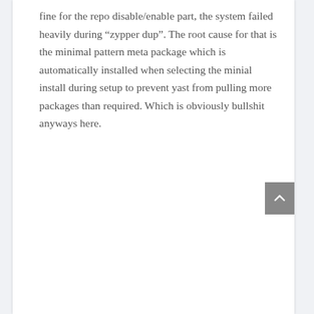fine for the repo disable/enable part, the system failed heavily during “zypper dup”. The root cause for that is the minimal pattern meta package which is automatically installed when selecting the minial install during setup to prevent yast from pulling more packages than required. Which is obviously bullshit anyways here.